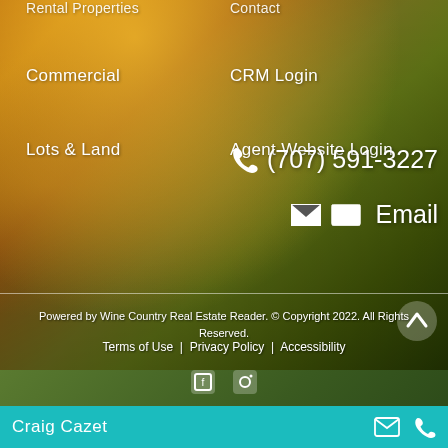Rental Properties
Contact
Commercial
CRM Login
Lots & Land
Agent Website Login
(707) 591-3227
Email
[Figure (photo): Aerial vineyard rows with warm golden sunset light]
Powered by Wine Country Real Estate Reader. © Copyright 2022. All Rights Reserved.
Terms of Use | Privacy Policy | Accessibility
Craig Cazet